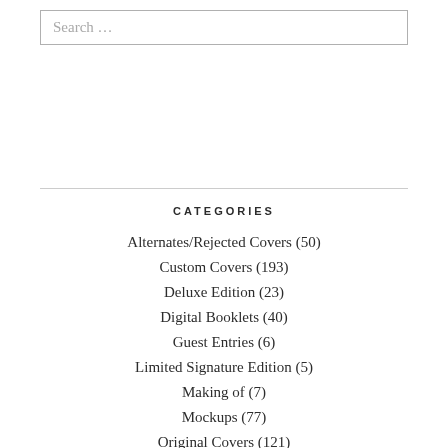Search …
CATEGORIES
Alternates/Rejected Covers (50)
Custom Covers (193)
Deluxe Edition (23)
Digital Booklets (40)
Guest Entries (6)
Limited Signature Edition (5)
Making of (7)
Mockups (77)
Original Covers (121)
Remakes (60)